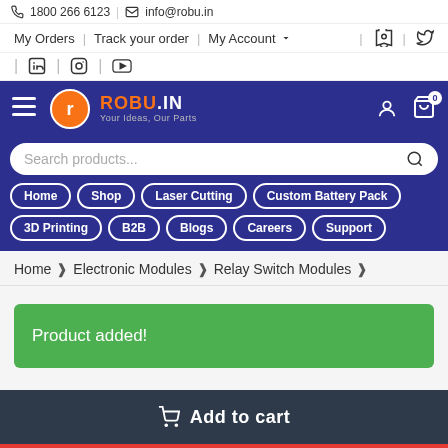1800 266 6123 | info@robu.in
My Orders | Track your order | My Account
LinkedIn | Instagram | YouTube
ROBU.IN - Your Ideas, Our Parts — navigation header with search and nav buttons: Home, Shop, Laser Cutting, Custom Battery Pack, 3D Printing, B2B, Blogs, Careers, Support
Home > Electronic Modules > Relay Switch Modules >
Product added!
Add to cart